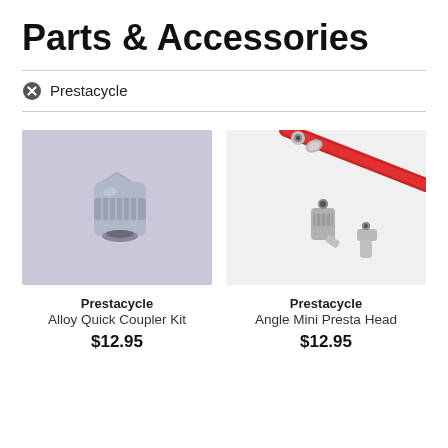Parts & Accessories
Prestacycle
[Figure (photo): Silver alloy quick coupler kit component on light purple/grey background]
Prestacycle
Alloy Quick Coupler Kit
$12.95
[Figure (photo): Red brake hose with silver angle mini presta head connectors on white background]
Prestacycle
Angle Mini Presta Head
$12.95